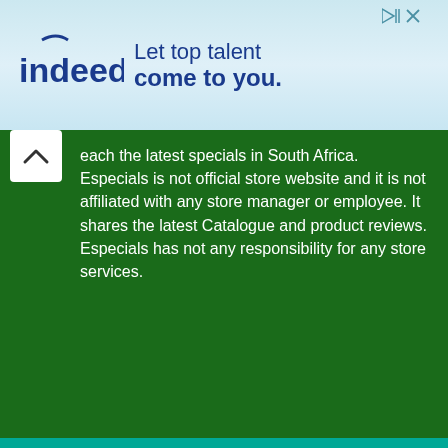[Figure (illustration): Indeed advertisement banner: 'Let top talent come to you.' with Indeed logo on light blue gradient background, with ad indicators (play icon and X) in top right corner.]
each the latest specials in South Africa. Especials is not official store website and it is not affiliated with any store manager or employee. It shares the latest Catalogue and product reviews. Especials has not any responsibility for any store services.